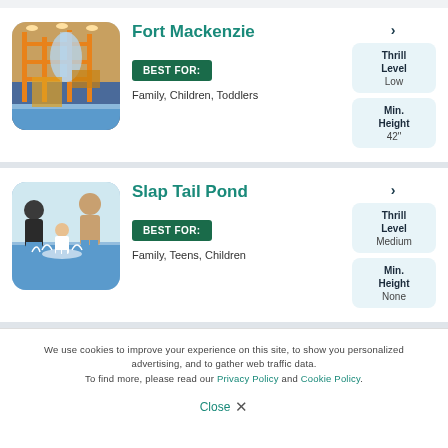[Figure (photo): Indoor water park structure with orange scaffolding and water features]
Fort Mackenzie
BEST FOR:
Family, Children, Toddlers
Thrill Level Low
Min. Height 42"
[Figure (photo): Family with children playing in shallow water at an indoor water park]
Slap Tail Pond
BEST FOR:
Family, Teens, Children
Thrill Level Medium
Min. Height None
We use cookies to improve your experience on this site, to show you personalized advertising, and to gather web traffic data. To find more, please read our Privacy Policy and Cookie Policy.
Close ✕